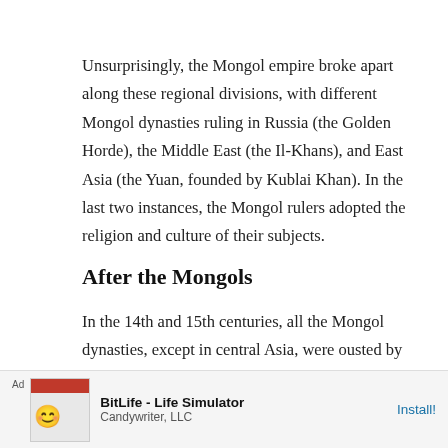Unsurprisingly, the Mongol empire broke apart along these regional divisions, with different Mongol dynasties ruling in Russia (the Golden Horde), the Middle East (the Il-Khans), and East Asia (the Yuan, founded by Kublai Khan). In the last two instances, the Mongol rulers adopted the religion and culture of their subjects.
After the Mongols
In the 14th and 15th centuries, all the Mongol dynasties, except in central Asia, were ousted by native rebellions; Eurasian politics reverted once again into its constituent culture-areas. The Ming dynasty took control of China; various Turkish groups contested for dominance in the
[Figure (other): Advertisement banner for BitLife - Life Simulator by Candywriter, LLC with an Install! call-to-action button]